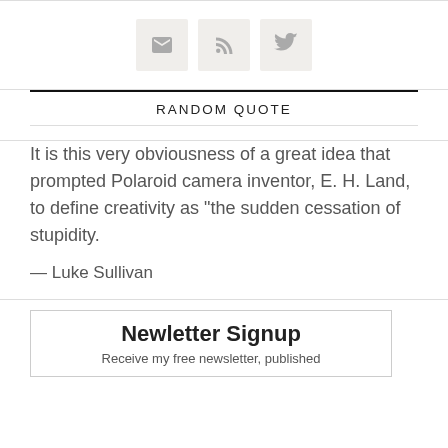[Figure (other): Three social media icon buttons: email/envelope, RSS feed, and Twitter bird, displayed as square buttons with light gray background]
RANDOM QUOTE
It is this very obviousness of a great idea that prompted Polaroid camera inventor, E. H. Land, to define creativity as "the sudden cessation of stupidity.
— Luke Sullivan
Newletter Signup
Receive my free newsletter, published